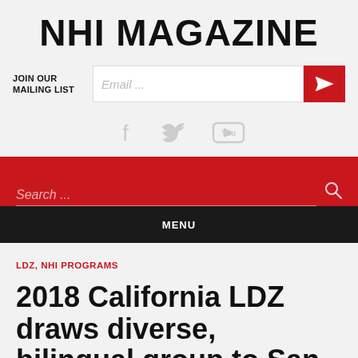NHI MAGAZINE
JOIN OUR MAILING LIST  Email ...
[Figure (other): Social media icons: Facebook, Twitter, YouTube]
Search ...
MENU
LDZ, NHI PROGRAMS
2018 California LDZ draws diverse, bilingual group to San